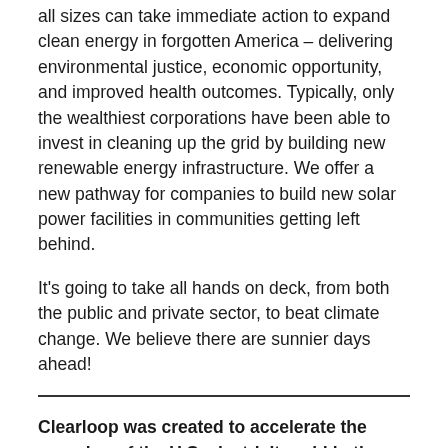all sizes can take immediate action to expand clean energy in forgotten America – delivering environmental justice, economic opportunity, and improved health outcomes. Typically, only the wealthiest corporations have been able to invest in cleaning up the grid by building new renewable energy infrastructure. We offer a new pathway for companies to build new solar power facilities in communities getting left behind.
It's going to take all hands on deck, from both the public and private sector, to beat climate change. We believe there are sunnier days ahead!
Clearloop was created to accelerate the greening of the U.S. electricity grid in the next 10 years through the force of everyday actions. Can you give us an